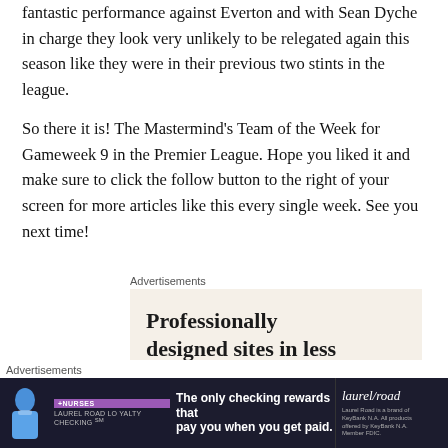fantastic performance against Everton and with Sean Dyche in charge they look very unlikely to be relegated again this season like they were in their previous two stints in the league.
So there it is! The Mastermind's Team of the Week for Gameweek 9 in the Premier League. Hope you liked it and make sure to click the follow button to the right of your screen for more articles like this every single week. See you next time!
[Figure (other): Advertisement banner: Wix website builder — 'Professionally designed sites in less than a week']
[Figure (other): Advertisement banner: Laurel Road Loyalty Checking — 'The only checking rewards that pay you when you get paid.']